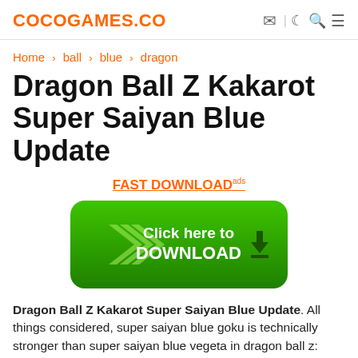COCOGAMES.CO
Home > ball > blue > dragon
Dragon Ball Z Kakarot Super Saiyan Blue Update
FAST DOWNLOAD ads
[Figure (illustration): Green rounded download button with chevron arrows and download icon, text: Click here to DOWNLOAD]
Dragon Ball Z Kakarot Super Saiyan Blue Update. All things considered, super saiyan blue goku is technically stronger than super saiyan blue vegeta in dragon ball z: Explore the new areas and